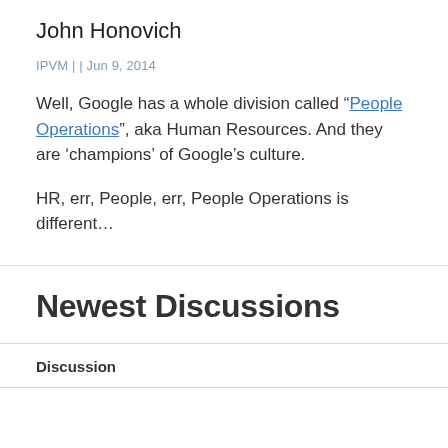John Honovich
IPVM | | Jun 9, 2014
Well, Google has a whole division called "People Operations", aka Human Resources. And they are 'champions' of Google's culture.
HR, err, People, err, People Operations is different…
Newest Discussions
Discussion